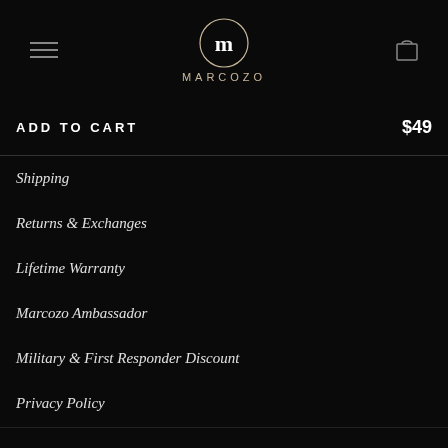[Figure (logo): MARCOZO brand logo: circular M monogram in white outline circle, with MARCOZO text below in spaced capitals, gold/tan color]
ADD TO CART   $49
Shipping
Returns & Exchanges
Lifetime Warranty
Marcozo Ambassador
Military & First Responder Discount
Privacy Policy
Terms of Service
Refund policy